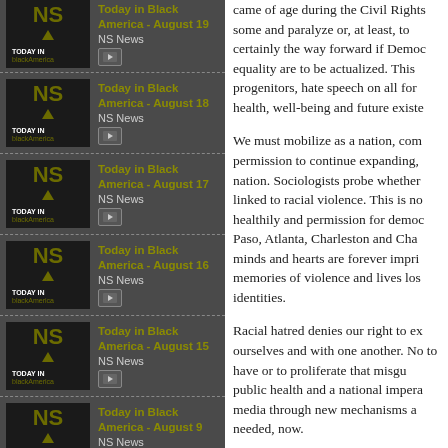Today in Black America - August 19 | NS News
Today in Black America - August 18 | NS News
Today in Black America - August 17 | NS News
Today in Black America - August 16 | NS News
Today in Black America - August 15 | NS News
Today in Black America - August 9 | NS News
Today in Black America (partial)
came of age during the Civil Rights ... some and paralyze or, at least, to ... certainly the way forward if Democ... equality are to be actualized. This ... progenitors, hate speech on all for... health, well-being and future existe...
We must mobilize as a nation, com... permission to continue expanding, ... nation. Sociologists probe whether... linked to racial violence. This is no... healthily and permission for democ... Paso, Atlanta, Charleston and Cha... minds and hearts are forever impri... memories of violence and lives los... identities.
Racial hatred denies our right to ex... ourselves and with one another. No... to have or to proliferate that misgu... public health and a national impera... media through new mechanisms a... needed, now.
But more is required.